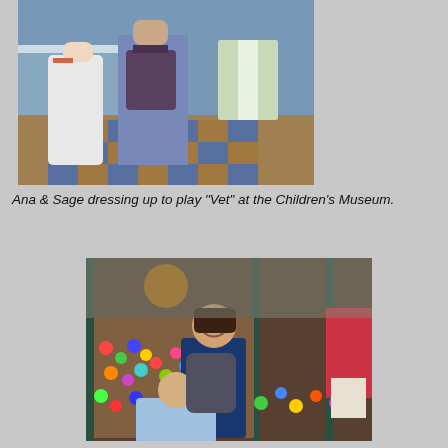[Figure (photo): Two children in a children's museum play area, one dressed in a white lab coat playing vet, with a checkered blue and orange floor visible in the background.]
Ana & Sage dressing up to play "Vet" at the Children's Museum.
[Figure (photo): A girl smiling in a ball pit room at a children's museum, surrounded by colorful balls, with another child in the foreground and other visitors in the background.]
Ana playing in the ball room at the Children's Museum.